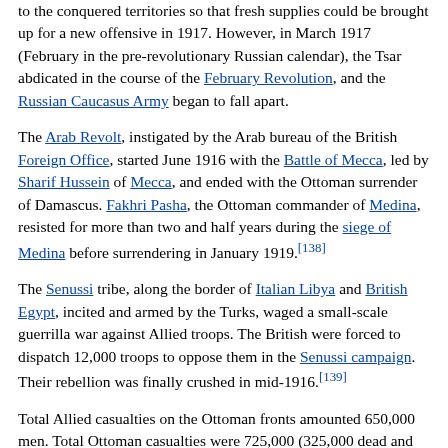to the conquered territories so that fresh supplies could be brought up for a new offensive in 1917. However, in March 1917 (February in the pre-revolutionary Russian calendar), the Tsar abdicated in the course of the February Revolution, and the Russian Caucasus Army began to fall apart.
The Arab Revolt, instigated by the Arab bureau of the British Foreign Office, started June 1916 with the Battle of Mecca, led by Sharif Hussein of Mecca, and ended with the Ottoman surrender of Damascus. Fakhri Pasha, the Ottoman commander of Medina, resisted for more than two and half years during the siege of Medina before surrendering in January 1919.[138]
The Senussi tribe, along the border of Italian Libya and British Egypt, incited and armed by the Turks, waged a small-scale guerrilla war against Allied troops. The British were forced to dispatch 12,000 troops to oppose them in the Senussi campaign. Their rebellion was finally crushed in mid-1916.[139]
Total Allied casualties on the Ottoman fronts amounted 650,000 men. Total Ottoman casualties were 725,000 (325,000 dead and 400,000 wounded).[140]
Italian participation